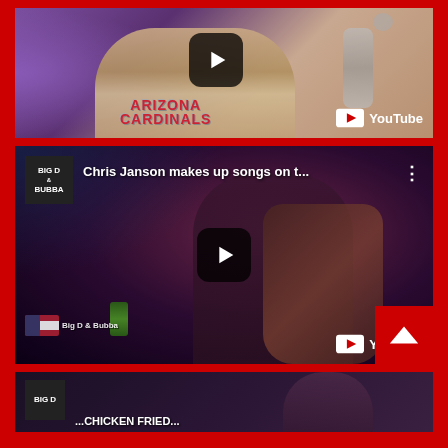[Figure (screenshot): YouTube video thumbnail: person wearing Arizona Cardinals hoodie near microphone, purple background lighting. YouTube logo visible in bottom right.]
[Figure (screenshot): YouTube video thumbnail: Big D & Bubba channel. Title reads 'Chris Janson makes up songs on t...' with three-dot menu. Shows person playing guitar in dark studio setting with Mountain Dew can visible. YouTube logo in bottom right, scroll-to-top button overlay.]
[Figure (screenshot): YouTube video thumbnail (partial): Big D channel logo visible. Partial text 'CHICKEN FRIED' visible at bottom.]